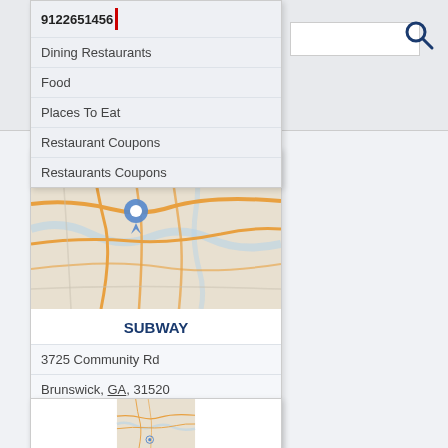9122651456
Dining Restaurants
Food
Places To Eat
Restaurant Coupons
Restaurants Coupons
[Figure (map): Street map showing location pin for Subway restaurant in Brunswick, GA]
SUBWAY
3725 Community Rd
Brunswick, GA, 31520
9122651456
Dining Restaurants
Food
Places To Eat
Restaurant Coupons
Restaurants Coupons
[Figure (map): Partial street map showing location pin for second restaurant listing]